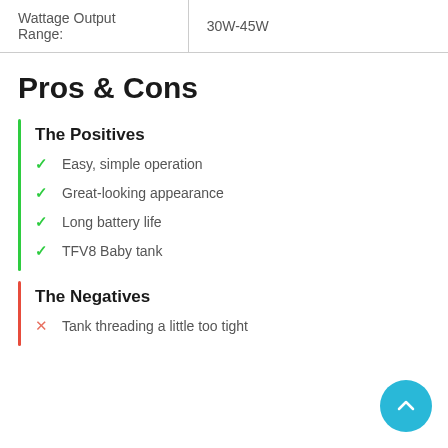| Wattage Output Range: |  |
| --- | --- |
| Wattage Output Range: | 30W-45W |
Pros & Cons
The Positives
Easy, simple operation
Great-looking appearance
Long battery life
TFV8 Baby tank
The Negatives
Tank threading a little too tight